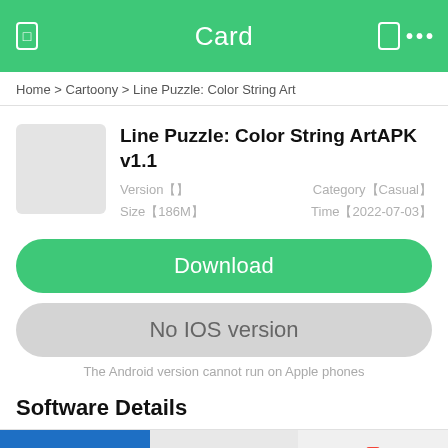Card
Home > Cartoony > Line Puzzle: Color String Art
Line Puzzle: Color String ArtAPK v1.1
Version【】  Category【Casual】
Size【186M】  Time【 2022-07-03】
Download
No IOS version
The Android version cannot run on Apple phones
Software Details
[Figure (screenshot): App screenshots row showing three partial app images]